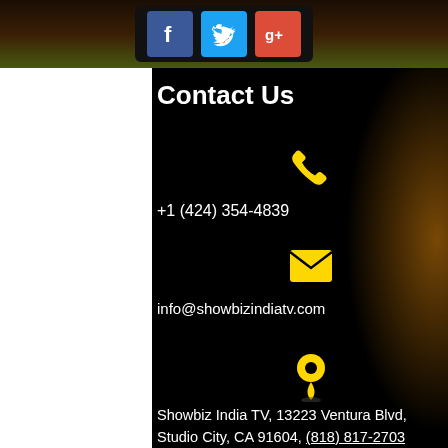[Figure (other): Social media icons bar with Facebook (blue), Twitter (cyan/blue), and Google+ (red) icons on dark brown background]
Contact Us
[Figure (other): Yellow phone/telephone icon]
+1 (424) 354-4839
[Figure (other): Yellow envelope/email icon]
info@showbizindiatv.com
[Figure (other): Yellow map/location pin icon]
Showbiz India TV, 13223 Ventura Blvd, Studio City, CA 91604, (818) 817-2703
Follow Us